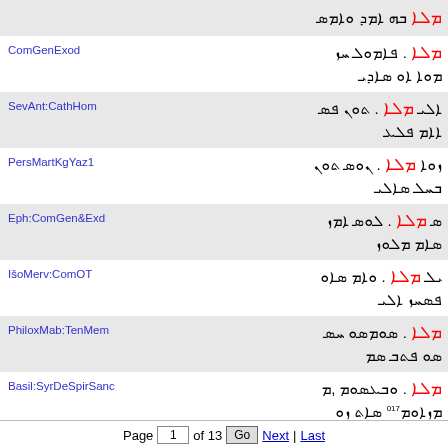| Source | Text |
| --- | --- |
|  | [Syriac text row 0] |
| ComGenExod | [Syriac text row 1] |
| SevAnt:CathHom | [Syriac text row 2] |
| PersMartKgYaz1 | [Syriac text row 3] |
| Eph:ComGen&Exd | [Syriac text row 4] |
| IšoMerv:ComOT | [Syriac text row 5] |
| PhiloxMab:TenMem | [Syriac text row 6] |
| Basil:SyrDeSpirSanc | [Syriac text row 7] |
| PhiloxMab:TenMem | [Syriac text row 8] |
Page 1 of 13  Go  Next | Last